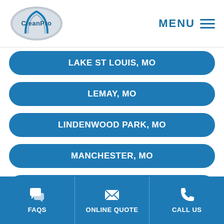CleanPro | MENU
LAKE ST LOUIS, MO
LEMAY, MO
LINDENWOOD PARK, MO
MANCHESTER, MO
MAPLEWOOD, MO
MARYLAND HEIGHTS, MO
FAQS | ONLINE QUOTE | CALL US